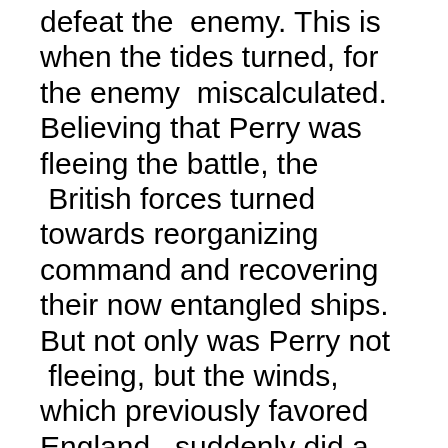defeat the  enemy. This is when the tides turned, for the enemy  miscalculated. Believing that Perry was fleeing the battle, the  British forces turned towards reorganizing command and recovering their now entangled ships. But not only was Perry not  fleeing, but the winds, which previously favored England,  suddenly did a 180 and was now favoring Perry. This allowed  Perry to swiftly overtake and decimate the British squadron.